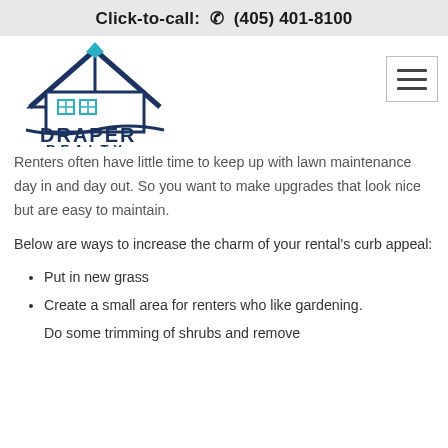Click-to-call: ☎ (405) 401-8100
[Figure (logo): Draper Realty logo with house/roof icon and diamond, dark navy blue text]
Renters often have little time to keep up with lawn maintenance day in and day out. So you want to make upgrades that look nice but are easy to maintain.
Below are ways to increase the charm of your rental's curb appeal:
Put in new grass
Create a small area for renters who like gardening.
Do some trimming of shrubs and remove